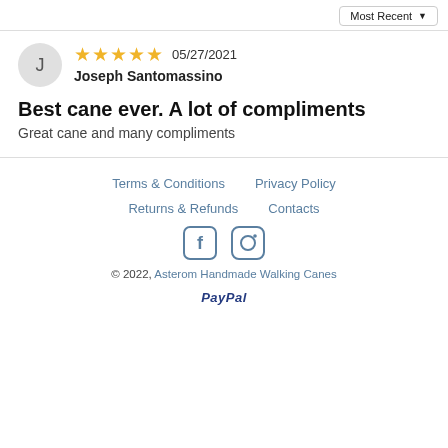Most Recent ▼
J — Joseph Santomassino — ★★★★★ 05/27/2021
Best cane ever. A lot of compliments
Great cane and many compliments
Terms & Conditions   Privacy Policy   Returns & Refunds   Contacts
Facebook Instagram social icons
© 2022, Asterom Handmade Walking Canes
PayPal